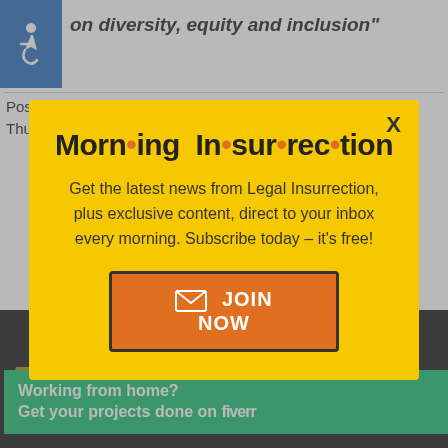[Figure (logo): Blue accessibility wheelchair icon]
on diversity, equity and inclusion"
Posted by Mike LaChance
Thursday, August 26, 2021 at 08:00am
[Figure (screenshot): Morning Insurrection newsletter signup modal popup on yellow background with close button X, body text and JOIN NOW button]
[Figure (screenshot): Dark background with gold DIVERSITY text and white X close button]
[Figure (screenshot): Fiverr green banner ad: Working from home? Get your projects done on fiverr]